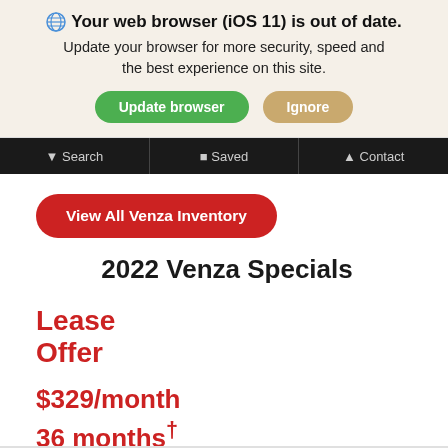🌐 Your web browser (iOS 11) is out of date. Update your browser for more security, speed and the best experience on this site.
Update browser | Ignore
Search | Saved | Contact
View All Venza Inventory
2022 Venza Specials
Lease Offer
$329/month 36 months†